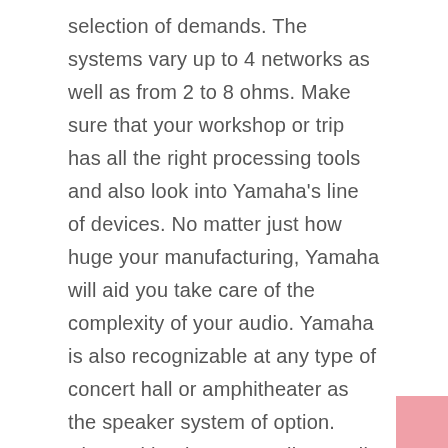selection of demands. The systems vary up to 4 networks as well as from 2 to 8 ohms. Make sure that your workshop or trip has all the right processing tools and also look into Yamaha's line of devices. No matter just how huge your manufacturing, Yamaha will aid you take care of the complexity of your audio. Yamaha is also recognizable at any type of concert hall or amphitheater as the speaker system of option. Along with mixers as well as audio speakers, Yamaha Pro Sound Amplifiers are suitable for anybody who is visiting or operating in a workshop. Yamaha makes amps as well as associated equipment for a variety of demands. These amps are powerful, effective, and compatible with tools and also audio speaker systems.